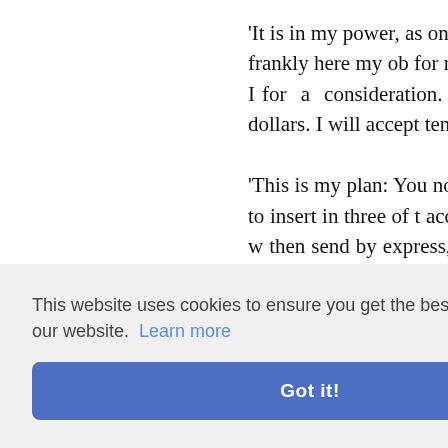'It is in my power, as one of the party platitudes, but state frankly here my ob for reasons of my own, and to do this I for a consideration. The "clique" wil thousands of dollars. I will accept ten th at liberty.
'This is my plan: You no doubt have i Request this friend to insert in three of t accept you will say, "Number three, w then send by express, to be called for, a —none larger than one hundred nor sm e in any me, or in -four ho ow to rea and it is l son know
'In proposing this I am running a risk, a